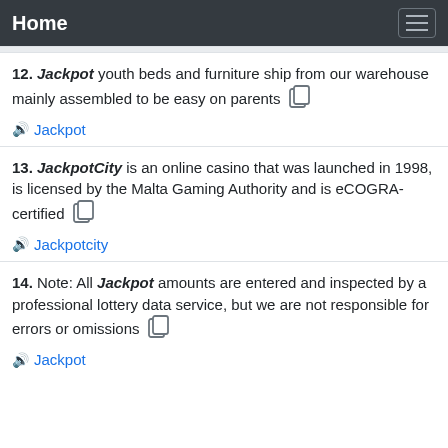Home
12. Jackpot youth beds and furniture ship from our warehouse mainly assembled to be easy on parents
Jackpot
13. JackpotCity is an online casino that was launched in 1998, is licensed by the Malta Gaming Authority and is eCOGRA-certified
Jackpotcity
14. Note: All Jackpot amounts are entered and inspected by a professional lottery data service, but we are not responsible for errors or omissions
Jackpot